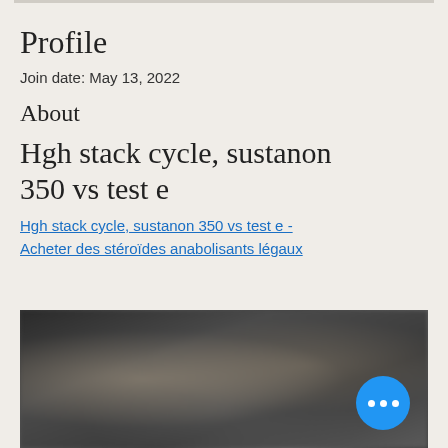Profile
Join date: May 13, 2022
About
Hgh stack cycle, sustanon 350 vs test e
Hgh stack cycle, sustanon 350 vs test e - Acheter des stéroïdes anabolisants légaux
[Figure (photo): Blurred dark photo, likely showing pharmaceutical or supplement products]